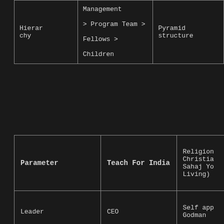| Hierarchy | > Program Team > Fellows > Children | Pyramid structure |
| --- | --- | --- |
| Parameter | Teach For India | Religion (Christianity, Sahaj Yoga Living) |
| --- | --- | --- |
| Leader | CEO | Self app Godman |
|  | Reach as many children as | Spread f |